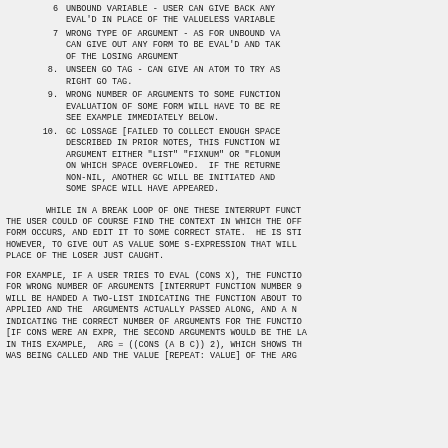6        UNBOUND VARIABLE - USER CAN GIVE BACK ANY FORM TO BE EVAL'D IN PLACE OF THE VALUELESS VARIABLE
7        WRONG TYPE OF ARGUMENT - AS FOR UNBOUND VARIABLE, CAN GIVE OUT ANY FORM TO BE EVAL'D AND TAKE PLACE OF THE LOSING ARGUMENT
8.       UNSEEN GO TAG - CAN GIVE AN ATOM TO TRY AS THE RIGHT GO TAG.
9.       WRONG NUMBER OF ARGUMENTS TO SOME FUNCTION. EVALUATION OF SOME FORM WILL HAVE TO BE REDONE. SEE EXAMPLE IMMEDIATELY BELOW.
10.      GC LOSSAGE [FAILED TO COLLECT ENOUGH SPACE]. AS DESCRIBED IN PRIOR NOTES, THIS FUNCTION WILL GET AN ARGUMENT EITHER "LIST" "FIXNUM" OR "FLONUM" DEPENDING ON WHICH SPACE OVERFLOWED. IF THE RETURNED VALUE IS NON-NIL, ANOTHER GC WILL BE INITIATED AND HOPEFULLY SOME SPACE WILL HAVE APPEARED.
WHILE IN A BREAK LOOP OF ONE THESE INTERRUPT FUNCTIONS, THE USER COULD OF COURSE FIND THE CONTEXT IN WHICH THE OFFENDING FORM OCCURS, AND EDIT IT TO SOME CORRECT STATE. HE IS STILL FREE, HOWEVER, TO GIVE OUT AS VALUE SOME S-EXPRESSION THAT WILL BE USED IN PLACE OF THE LOSER JUST CAUGHT.
FOR EXAMPLE, IF A USER TRIES TO EVAL (CONS X), THE FUNCTION CALLED FOR WRONG NUMBER OF ARGUMENTS [INTERRUPT FUNCTION NUMBER 9] WILL BE HANDED A TWO-LIST INDICATING THE FUNCTION ABOUT TO BE APPLIED AND THE ARGUMENTS ACTUALLY PASSED ALONG, AND A NUMBER INDICATING THE CORRECT NUMBER OF ARGUMENTS FOR THE FUNCTION. [IF CONS WERE AN EXPR, THE SECOND ARGUMENTS WOULD BE THE LAMBDA LIST]. IN THIS EXAMPLE, ARG = ((CONS (A B C)) 2), WHICH SHOWS THAT CONS WAS BEING CALLED AND THE VALUE [REPEAT: VALUE] OF THE ARGUMENTS